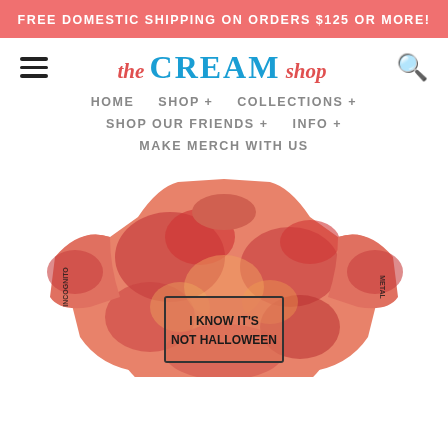FREE DOMESTIC SHIPPING ON ORDERS $125 OR MORE!
[Figure (logo): The CREAM Shop logo with hamburger menu and search icon]
HOME
SHOP +
COLLECTIONS +
SHOP OUR FRIENDS +
INFO +
MAKE MERCH WITH US
[Figure (photo): A tie-dye long sleeve shirt in red/orange/pink, with text on front reading 'I KNOW IT'S NOT HALLOWEEN']